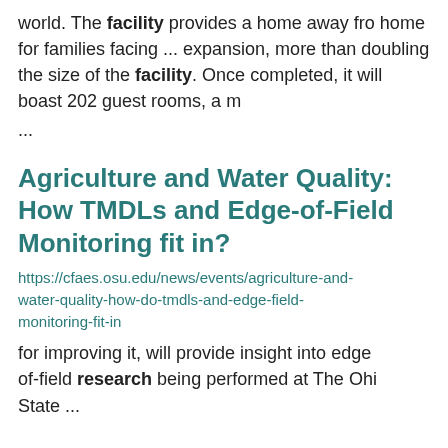world. The facility provides a home away from home for families facing ... expansion, more than doubling the size of the facility. Once completed, it will boast 202 guest rooms, a m...
...
Agriculture and Water Quality: How TMDLs and Edge-of-Field Monitoring fit in?
https://cfaes.osu.edu/news/events/agriculture-and-water-quality-how-do-tmdls-and-edge-field-monitoring-fit-in
for improving it, will provide insight into edge-of-field research being performed at The Ohio State ...